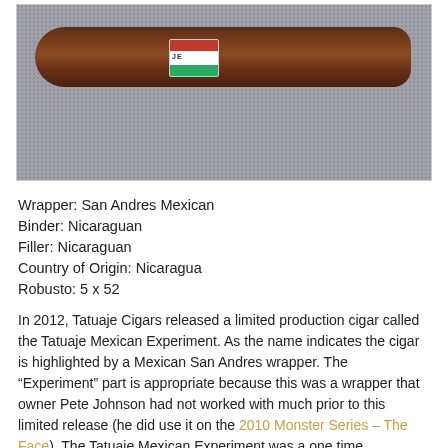[Figure (photo): A Tatuaje cigar with a red, white, and green band (Mexican flag colors) lying on a gray textured background.]
Wrapper: San Andres Mexican
Binder: Nicaraguan
Filler: Nicaraguan
Country of Origin: Nicaragua
Robusto: 5 x 52
In 2012, Tatuaje Cigars released a limited production cigar called the Tatuaje Mexican Experiment. As the name indicates the cigar is highlighted by a Mexican San Andres wrapper. The “Experiment” part is appropriate because this was a wrapper that owner Pete Johnson had not worked with much prior to this limited release (he did use it on the 2010 Monster Series – The Face). The Tatuaje Mexican Experiment was a one time production run. Today, we take a closer look at this cigar in the